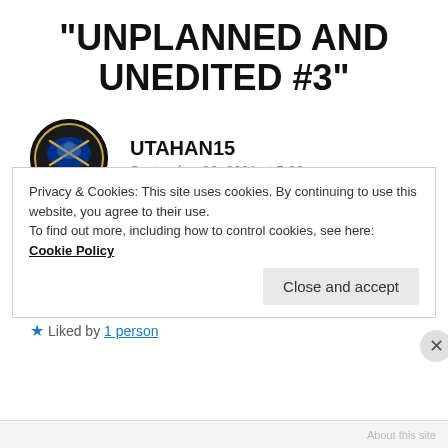“UNPLANNED AND UNEDITED #3”
UTAHAN15
September 23, 2021 at 5:06 pm
must we be
on display to see
til our own eternity?
★ Liked by 1 person
Privacy & Cookies: This site uses cookies. By continuing to use this website, you agree to their use.
To find out more, including how to control cookies, see here: Cookie Policy
Close and accept